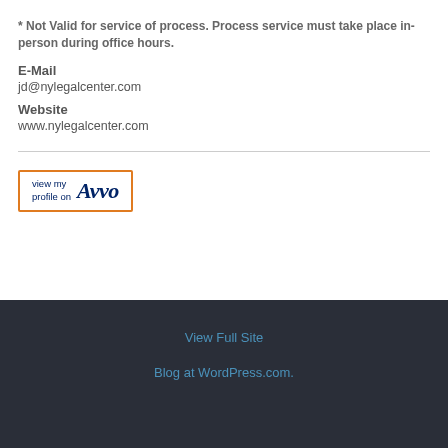* Not Valid for service of process. Process service must take place in-person during office hours.
E-Mail
jd@nylegalcenter.com
Website
www.nylegalcenter.com
[Figure (logo): Avvo badge: 'view my profile on Avvo' with orange border]
View Full Site
Blog at WordPress.com.